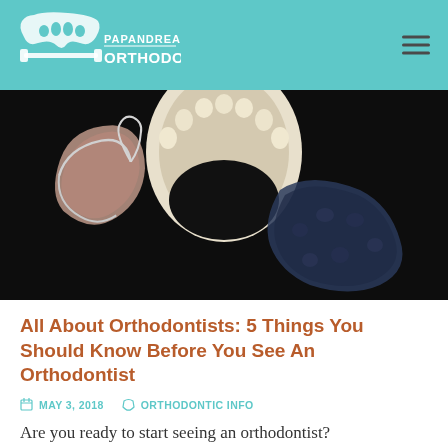PAPANDREAS ORTHODONTICS
[Figure (photo): Dental/orthodontic appliances on a black background: a hawley retainer on the left, a plaster dental model (upper arch) in the center, and a clear/dark mouthguard retainer on the right.]
All About Orthodontists: 5 Things You Should Know Before You See An Orthodontist
MAY 3, 2018   ORTHODONTIC INFO
Are you ready to start seeing an orthodontist?